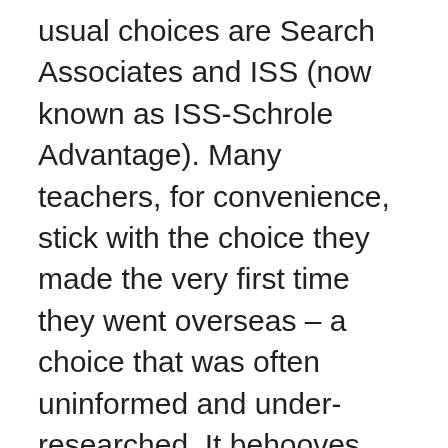usual choices are Search Associates and ISS (now known as ISS-Schrole Advantage). Many teachers, for convenience, stick with the choice they made the very first time they went overseas – a choice that was often uninformed and under-researched. It behooves you to understand a bit about how these recruiting companies operate financially so that you can understand where your agent's loyalties may lie.
Here is the fee structure for Search